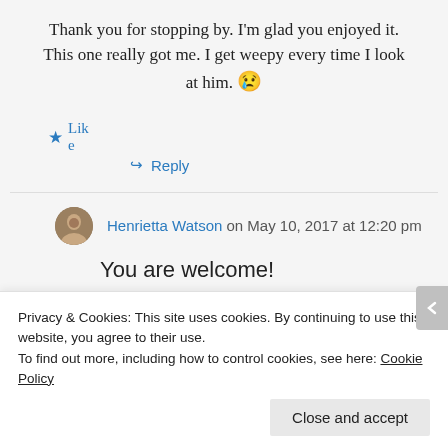Thank you for stopping by. I'm glad you enjoyed it. This one really got me. I get weepy every time I look at him. 😢
★ Like
↪ Reply
Henrietta Watson on May 10, 2017 at 12:20 pm
You are welcome!
★ Liked by 1
Privacy & Cookies: This site uses cookies. By continuing to use this website, you agree to their use.
To find out more, including how to control cookies, see here: Cookie Policy
Close and accept